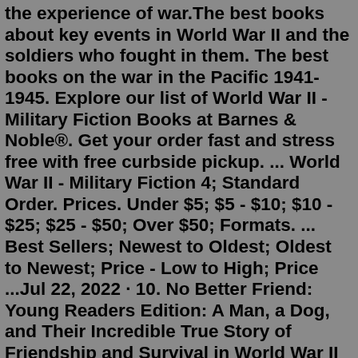the experience of war.The best books about key events in World War II and the soldiers who fought in them. The best books on the war in the Pacific 1941-1945. Explore our list of World War II - Military Fiction Books at Barnes & Noble®. Get your order fast and stress free with free curbside pickup. ... World War II - Military Fiction 4; Standard Order. Prices. Under $5; $5 - $10; $10 - $25; $25 - $50; Over $50; Formats. ... Best Sellers; Newest to Oldest; Oldest to Newest; Price - Low to High; Price ...Jul 22, 2022 · 10. No Better Friend: Young Readers Edition: A Man, a Dog, and Their Incredible True Story of Friendship and Survival in World War II View on Amazon. SCORE. 9.3 AI Score This Score is known as Artificial Intelligence, which is capable of simulating human intelligence expressed through programmed machines. The Alice Network by Kate Quinn - Female spy, Eve Gardiner, is recruited to the Alice Network in France during World War I in 1915. Thirty years later at the end of WW2, Charlie St. Clair is hoping to find her missing cousin from Nazi-occupied France.